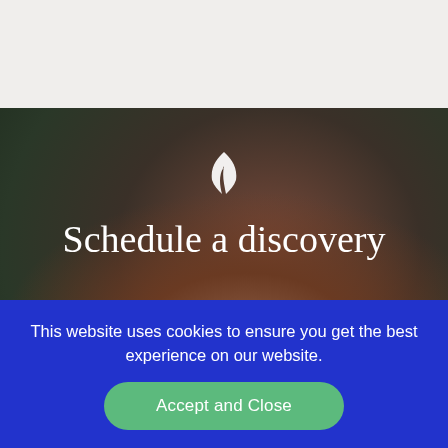[Figure (photo): Blurred dark background photo showing a hand/fingers, with a small white feather or dove logo icon centered in the upper-middle area. Text 'Schedule a discovery' overlaid in white serif font.]
Schedule a discovery
This website uses cookies to ensure you get the best experience on our website.
Accept and Close